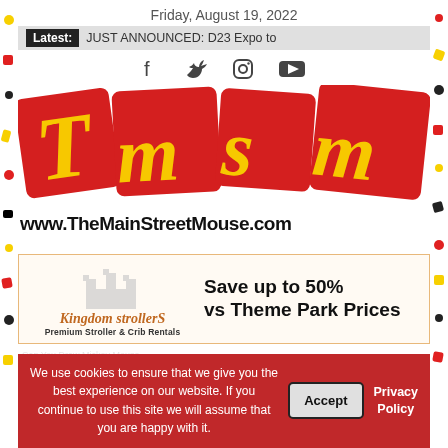Friday, August 19, 2022
Latest: JUST ANNOUNCED: D23 Expo to
[Figure (other): Social media icons: Facebook, Twitter, Instagram, YouTube]
[Figure (logo): TMSM logo - The Main Street Mouse - tmsm letters on red/yellow squares with www.TheMainStreetMouse.com below]
[Figure (other): Kingdom Strollers advertisement - Premium Stroller & Crib Rentals - Save up to 50% vs Theme Park Prices]
We use cookies to ensure that we give you the best experience on our website. If you continue to use this site we will assume that you are happy with it.
Accept
Privacy Policy